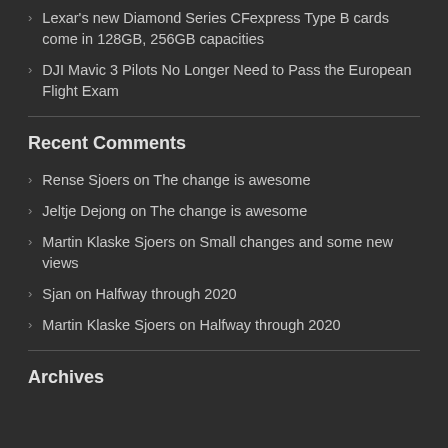Lexar's new Diamond Series CFexpress Type B cards come in 128GB, 256GB capacities
DJI Mavic 3 Pilots No Longer Need to Pass the European Flight Exam
Recent Comments
Rense Sjoers on The change is awesome
Jeltje Dejong on The change is awesome
Martin Klaske Sjoers on Small changes and some new views
Sjan on Halfway through 2020
Martin Klaske Sjoers on Halfway through 2020
Archives